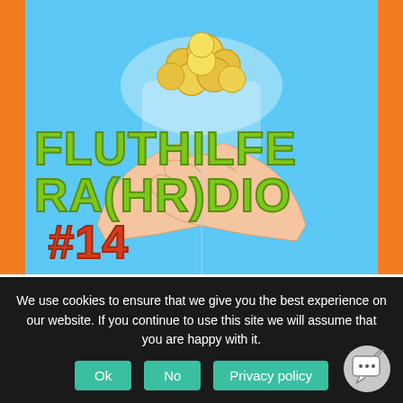[Figure (illustration): Illustration of two hands holding gold coins on a blue background, with large text overlay reading FLUTHILFE RA(HR)DIO #14. Orange side bars frame the image.]
Fluthilfe Ra(hr)dio #14 [18.11.2021]
Aufgrund der schrecklichen Flutkatastrophe in der
We use cookies to ensure that we give you the best experience on our website. If you continue to use this site we will assume that you are happy with it.